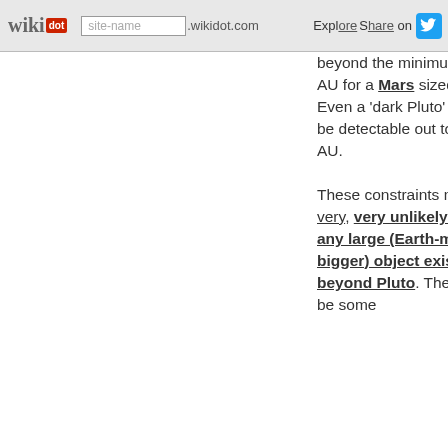wikidot | site-name .wikidot.com | Explore Share on
beyond the minimum of 62 AU for a **Mars sized object. Even a 'dark Pluto' would be detectable out to 170 AU.

These constraints make it very, very unlikely that any large (Earth-mass or bigger) object exists beyond Pluto. There may be some